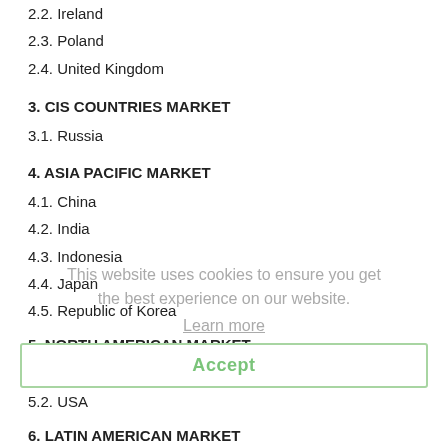2.2. Ireland
2.3. Poland
2.4. United Kingdom
3. CIS COUNTRIES MARKET
3.1. Russia
4. ASIA PACIFIC MARKET
4.1. China
4.2. India
4.3. Indonesia
4.4. Japan
4.5. Republic of Korea
5. NORTH AMERICAN MARKET
5.1. Canada
5.2. USA
6. LATIN AMERICAN MARKET
6.1. Brazil